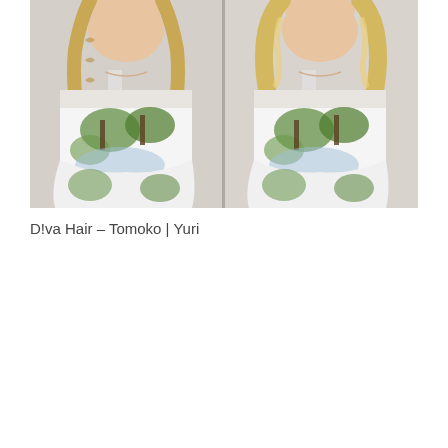[Figure (photo): Two side-by-side screenshots of a 3D avatar/game character showing a female avatar with long blonde braided hair wearing a floral/scenic patterned strapless dress. The left image shows a darker braided style while the right shows a looser wavy style. Both avatars have similar dress with green nature scenery print.]
D!va Hair – Tomoko | Yuri